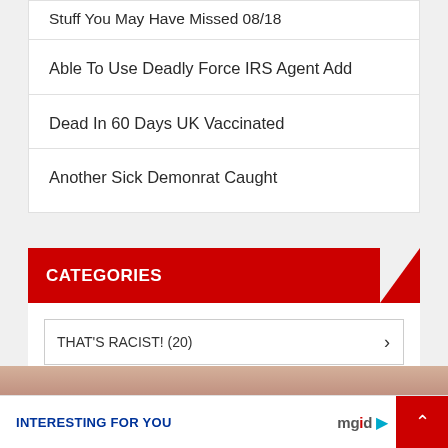Stuff You May Have Missed 08/18
Able To Use Deadly Force IRS Agent Add
Dead In 60 Days UK Vaccinated
Another Sick Demonrat Caught
CATEGORIES
THAT'S RACIST!  (20)
DEPLORABLE ADS
INTERESTING FOR YOU